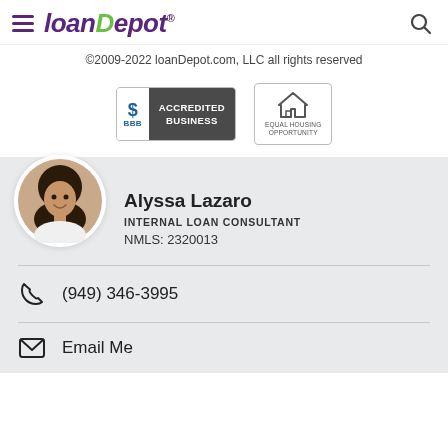[Figure (logo): loanDepot logo with hamburger menu icon on left and search icon on right]
©2009-2022 loanDepot.com, LLC all rights reserved
[Figure (other): BBB Accredited Business badge and Equal Housing Opportunity badge]
[Figure (photo): Profile photo of Alyssa Lazaro]
Alyssa Lazaro
INTERNAL LOAN CONSULTANT
NMLS: 2320013
(949) 346-3995
Email Me